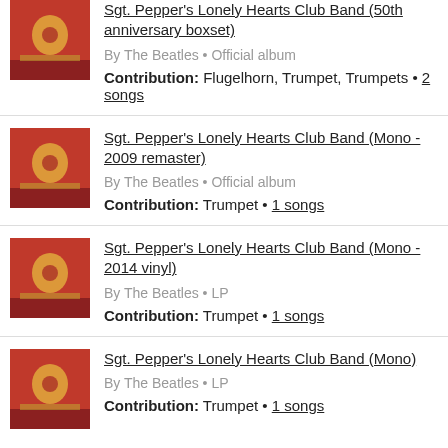Sgt. Pepper's Lonely Hearts Club Band (50th anniversary boxset) | By The Beatles • Official album | Contribution: Flugelhorn, Trumpet, Trumpets • 2 songs
Sgt. Pepper's Lonely Hearts Club Band (Mono - 2009 remaster) | By The Beatles • Official album | Contribution: Trumpet • 1 songs
Sgt. Pepper's Lonely Hearts Club Band (Mono - 2014 vinyl) | By The Beatles • LP | Contribution: Trumpet • 1 songs
Sgt. Pepper's Lonely Hearts Club Band (Mono) | By The Beatles • LP | Contribution: Trumpet • 1 songs